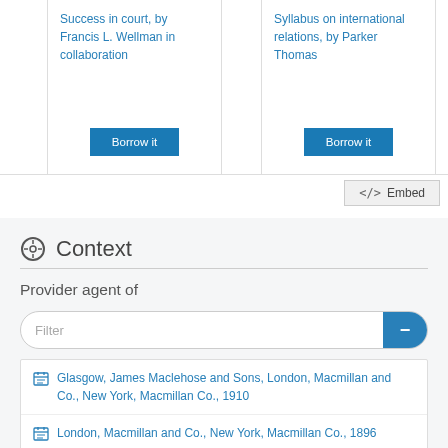Success in court, by Francis L. Wellman in collaboration
Borrow it
Syllabus on international relations, by Parker Thomas
Borrow it
</> Embed
Context
Provider agent of
Filter
Glasgow, James Maclehose and Sons, London, Macmillan and Co., New York, Macmillan Co., 1910
London, Macmillan and Co., New York, Macmillan Co., 1896